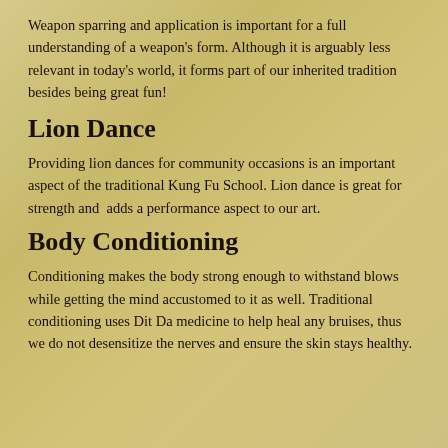Weapon sparring and application is important for a full understanding of a weapon's form. Although it is arguably less relevant in today's world, it forms part of our inherited tradition besides being great fun!
Lion Dance
Providing lion dances for community occasions is an important aspect of the traditional Kung Fu School. Lion dance is great for strength and adds a performance aspect to our art.
Body Conditioning
Conditioning makes the body strong enough to withstand blows while getting the mind accustomed to it as well. Traditional conditioning uses Dit Da medicine to help heal any bruises, thus we do not desensitize the nerves and ensure the skin stays healthy.